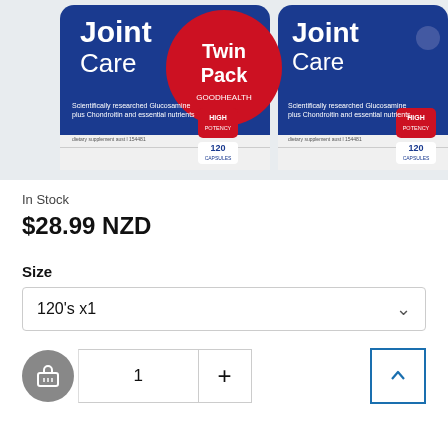[Figure (photo): Product photo of Joint Care Twin Pack — two blue bottles of Joint Care supplement with 120 capsules each, High Potency label, featuring a red Twin Pack badge in the center. Text on bottles: 'Joint Care', 'Twin Pack', 'HIGH POTENCY', 'Scientifically researched Glucosamine plus Chondroitin and essential nutrients', '120 CAPSULES', 'dietary supplement aust l 154481'.]
In Stock
$28.99 NZD
Size
120's x1
1